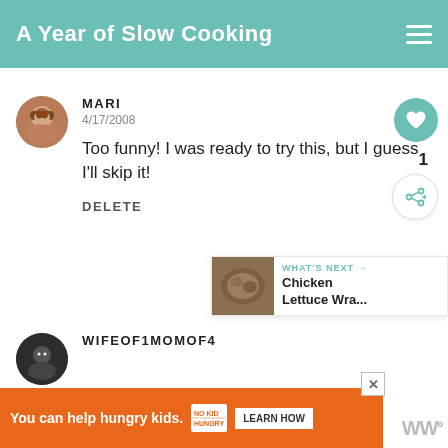A Year of Slow Cooking
MARI
4/17/2008
Too funny! I was ready to try this, but I guess I'll skip it!
DELETE
WHAT'S NEXT → Chicken Lettuce Wra...
WIFEOF1MOMOF4
You can help hungry kids.  NO KID HUNGRY  LEARN HOW